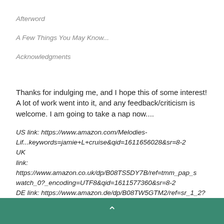Afterword
A Few Things You May Know...
Acknowledgments
Thanks for indulging me, and I hope this of some interest! A lot of work went into it, and any feedback/criticism is welcome. I am going to take a nap now....
US link: https://www.amazon.com/Melodies-Lif...keywords=jamie+L+cruise&qid=1611656028&sr=8-2
UK link: https://www.amazon.co.uk/dp/B08TS5DY7B/ref=tmm_pap_swatch_0?_encoding=UTF8&qid=1611577360&sr=8-2
DE link: https://www.amazon.de/dp/B08TW5GTM2/ref=sr_1_2?__mk_de_DE=ÅMÅŽÕÑ&dchild=1&keywords=jamie+L.+Cruise&qid
^